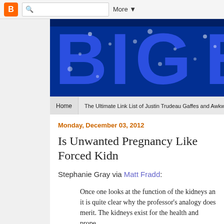[Figure (screenshot): Blogger navigation bar with orange B icon, search box, and More dropdown]
[Figure (photo): Blog banner image showing large blue letters 'BIG B' on dark blue background with water bubbles]
Home | The Ultimate Link List of Justin Trudeau Gaffes and Awkward Moments
Monday, December 03, 2012
Is Unwanted Pregnancy Like Forced Kidn
Stephanie Gray via Matt Fradd:
Once one looks at the function of the kidneys and it is quite clear why the professor's analogy does merit. The kidneys exist for the health and prope of the body in which they reside. In other words